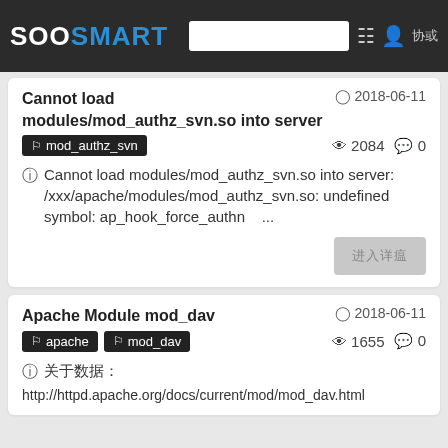SOOSMART
Cannot load modules/mod_authz_svn.so into server
2018-06-11
mod_authz_svn
2084  0
Cannot load modules/mod_authz_svn.so into server: /xxx/apache/modules/mod_authz_svn.so: undefined symbol: ap_hook_force_authn   ...
Apache Module mod_dav
2018-06-11
apache  mod_dav
1655  0
http://httpd.apache.org/docs/current/mod/mod_dav.html